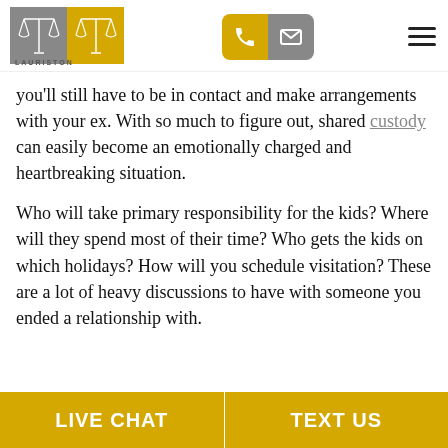Lauriston Law Firm
you'll still have to be in contact and make arrangements with your ex. With so much to figure out, shared custody can easily become an emotionally charged and heartbreaking situation.
Who will take primary responsibility for the kids? Where will they spend most of their time? Who gets the kids on which holidays? How will you schedule visitation? These are a lot of heavy discussions to have with someone you ended a relationship with.
LIVE CHAT | TEXT US